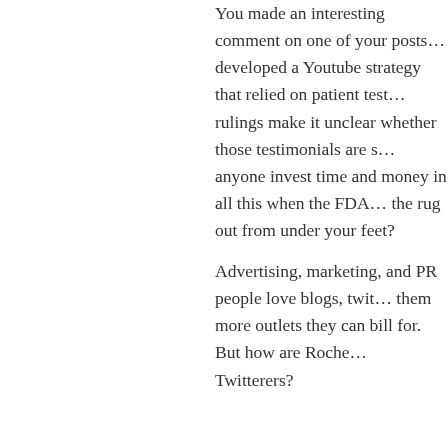You made an interesting comment on one of your posts… developed a Youtube strategy that relied on patient testimonials… rulings make it unclear whether those testimonials are s… anyone invest time and money in all this when the FDA… the rug out from under your feet?
Advertising, marketing, and PR people love blogs, twit… them more outlets they can bill for. But how are Roche… Twitterers?
Mark Senak says:
December 16, 2009 at 2:57 pm
Pierce, Pierce, Pierce – that is not a fair characterization… yes, it does matter. Twitter has become an important fa… it is all about speed and reach. Let me ask you this Pier… a crisis (think Tiger Woods) and you wanted to get out… you rather be? Someone who has a no Twitter platform… who has a lot of followers who are going to carry your…